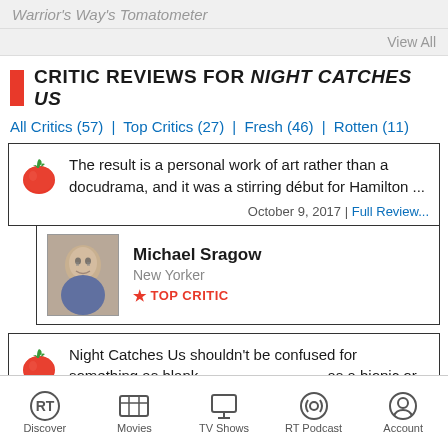Warrior's Way's Tomatometer
View All
CRITIC REVIEWS FOR NIGHT CATCHES US
All Critics (57) | Top Critics (27) | Fresh (46) | Rotten (11)
The result is a personal work of art rather than a docudrama, and it was a stirring début for Hamilton ...
October 9, 2017 | Full Review...
Michael Sragow
New Yorker
★ TOP CRITIC
Night Catches Us shouldn't be confused for something as blank as a biopic or even a political drama ... what it really takes to move on when you're so stuck on here.
Most Popular at Home Now
Discover | Movies | TV Shows | RT Podcast | Account